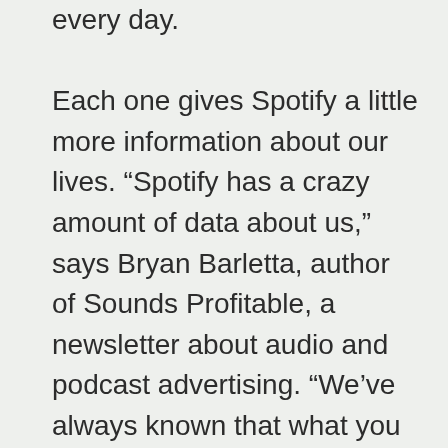every day. Each one gives Spotify a little more information about our lives. “Spotify has a crazy amount of data about us,” says Bryan Barletta, author of Sounds Profitable, a newsletter about audio and podcast advertising. “We’ve always known that what you listen to, how you listen to it